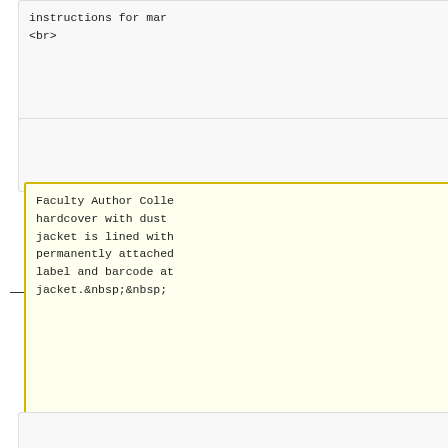instructions for mar
<br>
Faculty Author Colle hardcover with dust jacket is lined with permanently attached label and barcode at jacket.&nbsp;&nbsp;
See separate secton i details on processing
Line 235:
When a DVD arrives w case and therefore d sleeve for the locki